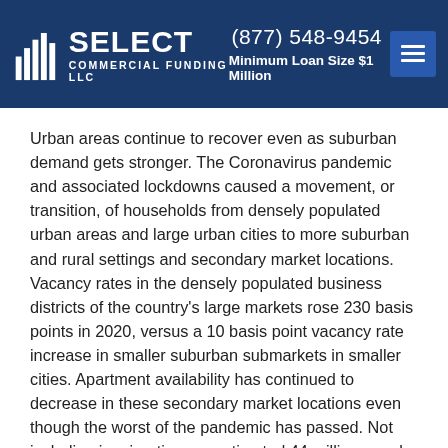Select Commercial Funding LLC | (877) 548-9454 | Minimum Loan Size $1 Million
Urban areas continue to recover even as suburban demand gets stronger. The Coronavirus pandemic and associated lockdowns caused a movement, or transition, of households from densely populated urban areas and large urban cities to more suburban and rural settings and secondary market locations. Vacancy rates in the densely populated business districts of the country’s large markets rose 230 basis points in 2020, versus a 10 basis point vacancy rate increase in smaller suburban submarkets in smaller cities. Apartment availability has continued to decrease in these secondary market locations even though the worst of the pandemic has passed. Not including immigration, an estimated 44 million people will enter their 30s over the next 10 years, a stage of life associated with the beginning of families, which is the main driver of apartment demand. Increasing household size causes renters to look for larger accommodations, which are more affordable in suburban and rural